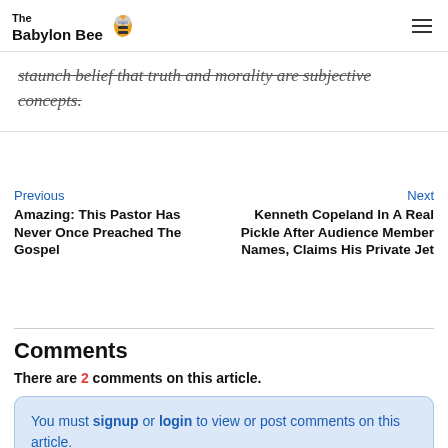The Babylon Bee
staunch belief that truth and morality are subjective concepts.
Previous
Amazing: This Pastor Has Never Once Preached The Gospel
Next
Kenneth Copeland In A Real Pickle After Audience Member Names, Claims His Private Jet
Comments
There are 2 comments on this article.
You must signup or login to view or post comments on this article.